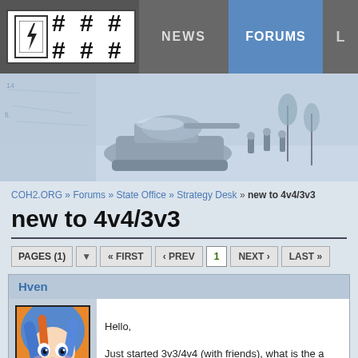[Figure (screenshot): Website navigation bar with logo showing lightning bolt icon and '######' hash symbols, NEWS tab, and FORUMS tab highlighted in blue]
[Figure (screenshot): Banner image showing winter war scene with tank and soldiers, blue-grey washed artistic style]
COH2.ORG » Forums » State Office » Strategy Desk » new to 4v4/3v3
new to 4v4/3v3
PAGES (1) « FIRST ‹ PREV 1 NEXT › LAST »
Hven
[Figure (illustration): Anime-style avatar of a girl with blue hair and orange accents]
Hello,

Just started 3v3/4v4 (with friends), what is the a

thank you.